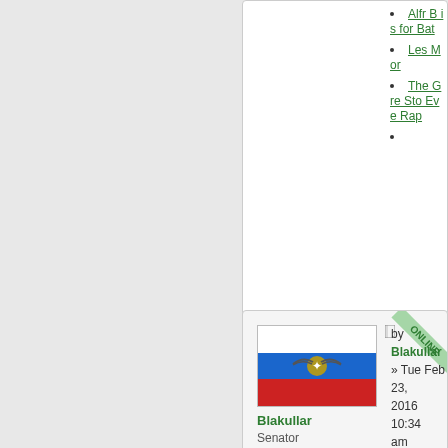Alfr B is for Bat
Les Mor
The Gre Sto Eve Rap
[Figure (photo): Flag image: Russian tricolor with eagle emblem, used as nation flag for user Blakullar]
Blakullar
Senator

Posts: 4506
Founded: Sep 07, 2012
Corrupt Dictatorship
by Blakullar » Tue Feb 23, 2016 10:34 am